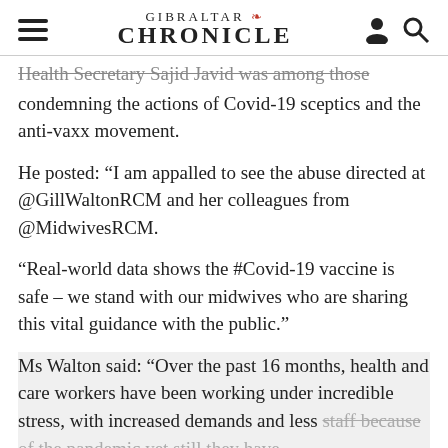Gibraltar Chronicle
Health Secretary Sajid Javid was among those condemning the actions of Covid-19 sceptics and the anti-vaxx movement.
He posted: “I am appalled to see the abuse directed at @GillWaltonRCM and her colleagues from @MidwivesRCM.
“Real-world data shows the #Covid-19 vaccine is safe – we stand with our midwives who are sharing this vital guidance with the public.”
Ms Walton said: “Over the past 16 months, health and care workers have been working under incredible stress, with increased demands and less staff because of the pandemic yet still they have